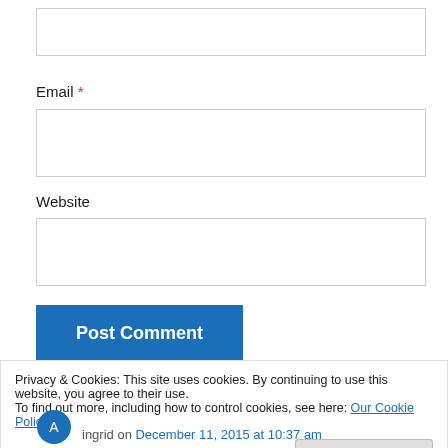[input box at top]
Email *
[email input box]
Website
[website input box]
Post Comment
Privacy & Cookies: This site uses cookies. By continuing to use this website, you agree to their use.
To find out more, including how to control cookies, see here: Our Cookie Policy
Close and accept
ingrid on December 11, 2015 at 10:37 am